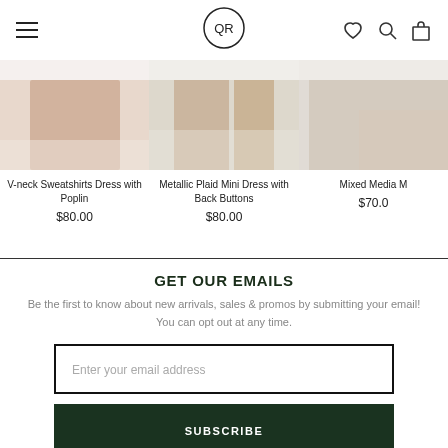Navigation bar with hamburger menu, OR logo, heart, search, and bag icons
[Figure (photo): Partial product image of V-neck Sweatshirts Dress with Poplin]
V-neck Sweatshirts Dress with Poplin
$80.00
[Figure (photo): Partial product image of Metallic Plaid Mini Dress with Back Buttons]
Metallic Plaid Mini Dress with Back Buttons
$80.00
[Figure (photo): Partial product image of Mixed Media (truncated)]
Mixed Media M
$70.0
GET OUR EMAILS
Be the first to know about new arrivals, sales & promos by submitting your email! You can opt out at any time.
Enter your email address
SUBSCRIBE